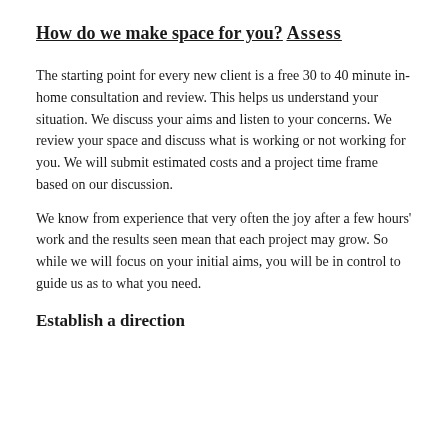How do we make space for you?
Assess
The starting point for every new client is a free 30 to 40 minute in-home consultation and review. This helps us understand your situation. We discuss your aims and listen to your concerns. We review your space and discuss what is working or not working for you. We will submit estimated costs and a project time frame based on our discussion.
We know from experience that very often the joy after a few hours' work and the results seen mean that each project may grow. So while we will focus on your initial aims, you will be in control to guide us as to what you need.
Establish a direction